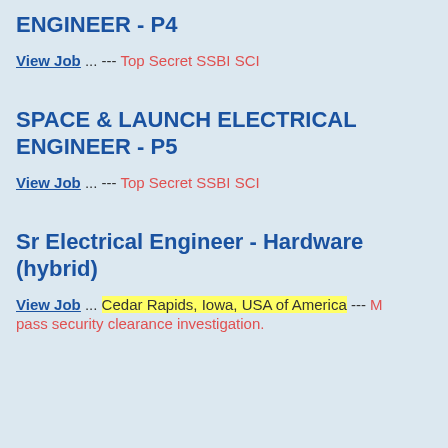ENGINEER - P4
View Job ... --- Top Secret SSBI SCI
SPACE & LAUNCH ELECTRICAL ENGINEER - P5
View Job ... --- Top Secret SSBI SCI
Sr Electrical Engineer - Hardware (hybrid)
View Job ... Cedar Rapids, Iowa, USA of America --- M pass security clearance investigation.